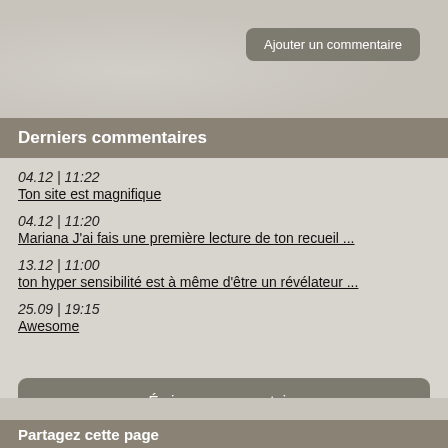Ajouter un commentaire
Derniers commentaires
04.12 | 11:22
Ton site est magnifique
04.12 | 11:20
Mariana J'ai fais une première lecture de ton recueil ...
13.12 | 11:00
ton hyper sensibilité est à même d'être un révélateur ...
25.09 | 19:15
Awesome
Écrire un commentaire
Partagez cette page